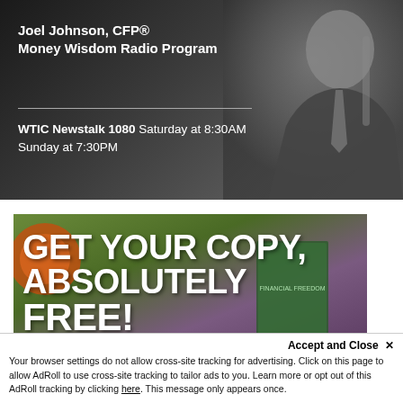[Figure (photo): Radio program advertisement banner with dark background showing Joel Johnson CFP in a studio setting]
Joel Johnson, CFP® Money Wisdom Radio Program
WTIC Newstalk 1080 Saturday at 8:30AM Sunday at 7:30PM
[Figure (photo): Book advertisement banner with green and purple background showing text GET YOUR COPY, ABSOLUTELY FREE!]
Accept and Close ✕
Your browser settings do not allow cross-site tracking for advertising. Click on this page to allow AdRoll to use cross-site tracking to tailor ads to you. Learn more or opt out of this AdRoll tracking by clicking here. This message only appears once.